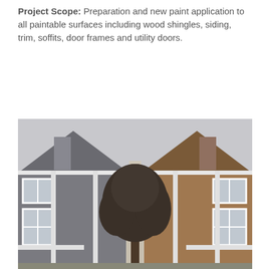Project Scope: Preparation and new paint application to all paintable surfaces including wood shingles, siding, trim, soffits, door frames and utility doors.
[Figure (photo): Exterior photo of a multi-unit residential building complex showing two attached townhomes with wood shingle siding (grey on the left, brown on the right), white trim, white-framed windows, peaked rooflines with chimneys, and a large tree in the foreground center. Photo taken on an overcast day.]